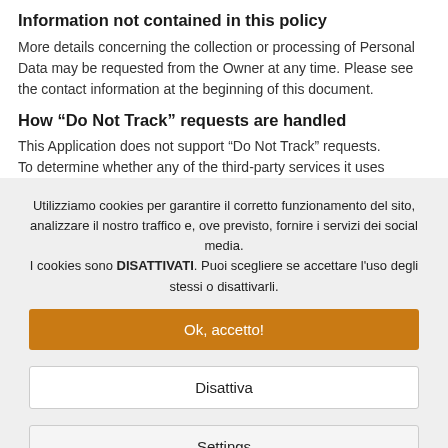Information not contained in this policy
More details concerning the collection or processing of Personal Data may be requested from the Owner at any time. Please see the contact information at the beginning of this document.
How “Do Not Track” requests are handled
This Application does not support “Do Not Track” requests. To determine whether any of the third-party services it uses
Utilizziamo cookies per garantire il corretto funzionamento del sito, analizzare il nostro traffico e, ove previsto, fornire i servizi dei social media.
I cookies sono DISATTIVATI. Puoi scegliere se accettare l'uso degli stessi o disattivarli.
Ok, accetto!
Disattiva
Settings
Maggiori informazioni